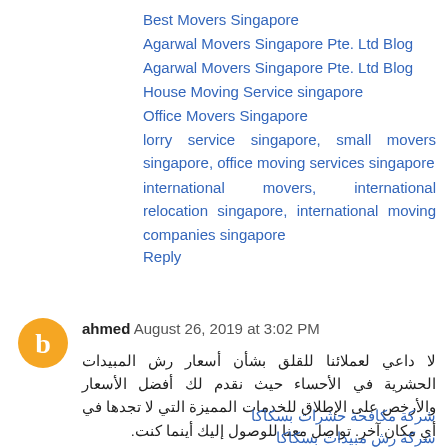Best Movers Singapore
Agarwal Movers Singapore Pte. Ltd Blog
Agarwal Movers Singapore Pte. Ltd Blog
House Moving Service singapore
Office Movers Singapore
lorry service singapore, small movers singapore, office moving services singapore
international movers, international relocation singapore, international moving companies singapore
Reply
ahmed  August 26, 2019 at 3:02 PM
لا داعي لعملائنا للقلق بشأن أسعار رش المبيدات الحشرية في الأحساء حيث نقدم لك أفضل الأسعار والأرخص على الإطلاق للخدمات المميزة التي لا تجدها في أي مكان آخر. تواصل معنا للوصول إليك أينما كنت.
شركة مكافحة حشرات بسكاكا
شركة رش مبيدات بسكاكا
المبيدات الحشرية الكيميائية